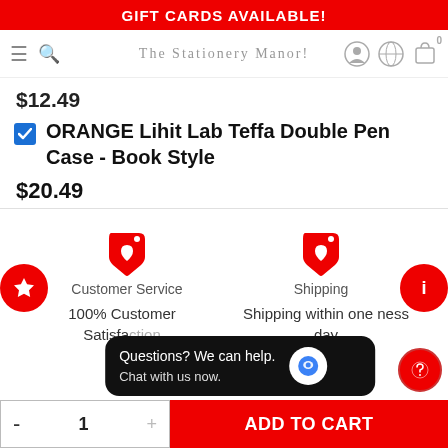GIFT CARDS AVAILABLE!
The Stationery Manor!
$12.49
ORANGE Lihit Lab Teffa Double Pen Case - Book Style
$20.49
[Figure (illustration): Customer Service tag icon with heart]
Customer Service
[Figure (illustration): Shipping tag icon with heart]
Shipping
100% Customer Satisfaction
Shipping within one business day
Questions? We can help. Chat with us now.
1
ADD TO CART